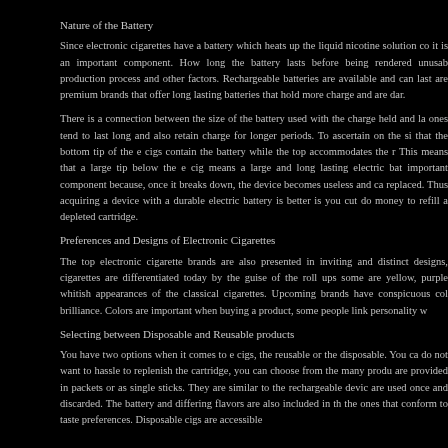Nature of the Battery
Since electronic cigarettes have a battery which heats up the liquid nicotine solution co it is an important component. How long the battery lasts before being rendered unusab production process and other factors. Rechargeable batteries are available and can last are premium brands that offer long lasting batteries that hold more charge and are dar.
There is a connection between the size of the battery used with the charge held and la ones tend to last long and also retain charge for longer periods. To ascertain on the si that the bottom tip of the e cigs contain the battery while the top accommodates the r This means that a large tip below the e cig means a large and long lasting electric bat important component because, once it breaks down, the device becomes useless and ca replaced. Thus acquiring a device with a durable electric battery is better is you cut do money to refill a depleted cartridge.
Preferences and Designs of Electronic Cigarettes
The top electronic cigarette brands are also presented in inviting and distinct designs, cigarettes are differentiated today by the guise of the roll ups some are yellow, purple whitish appearances of the classical cigarettes. Upcoming brands have conspicuous col brilliance. Colors are important when buying a product, some people link personality w
Selecting between Disposable and Reusable products
You have two options when it comes to e cigs, the reusable or the disposable. You ca do not want to hassle to replenish the cartridge, you can choose from the many produ are provided in packets or as single sticks. They are similar to the rechargeable devic are used once and discarded. The battery and differing flavors are also included in th the ones that conform to taste preferences. Disposable cigs are accessible